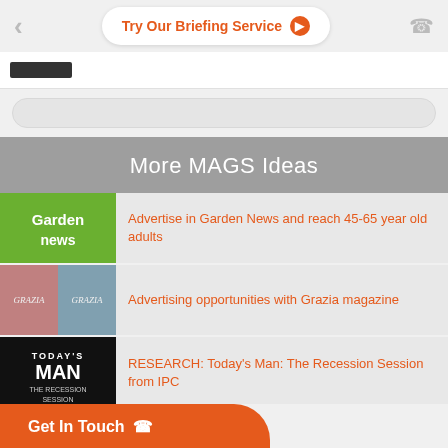Try Our Briefing Service
More MAGS Ideas
Advertise in Garden News and reach 45-65 year old adults
Advertising opportunities with Grazia magazine
RESEARCH: Today's Man: The Recession Session from IPC
CASE STUDY: Corsodyl raises a health issue and drives sal...
...most famous celebrity brand
Get In Touch